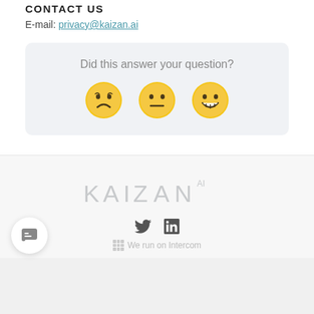CONTACT US
E-mail: privacy@kaizan.ai
[Figure (infographic): Feedback widget with question 'Did this answer your question?' and three emoji faces: sad, neutral, happy]
[Figure (logo): KAIZAN AI logo in light grey text]
[Figure (infographic): Social media icons: Twitter bird and LinkedIn 'in' icon]
We run on Intercom